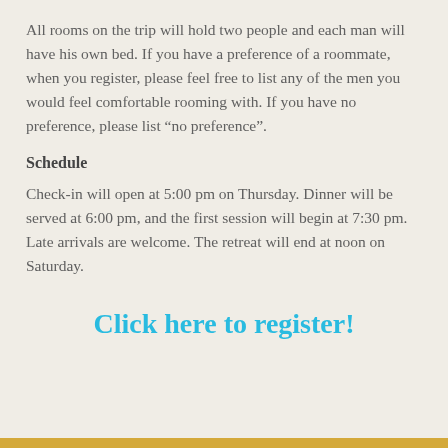All rooms on the trip will hold two people and each man will have his own bed. If you have a preference of a roommate, when you register, please feel free to list any of the men you would feel comfortable rooming with. If you have no preference, please list “no preference”.
Schedule
Check-in will open at 5:00 pm on Thursday. Dinner will be served at 6:00 pm, and the first session will begin at 7:30 pm. Late arrivals are welcome. The retreat will end at noon on Saturday.
Click here to register!